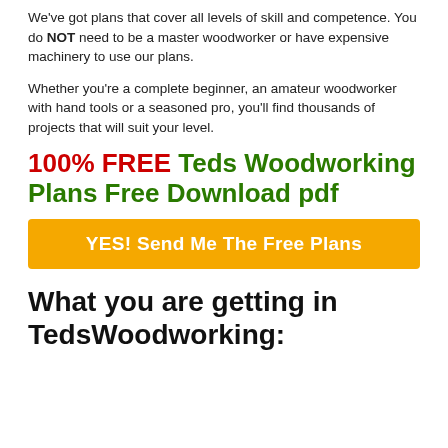We've got plans that cover all levels of skill and competence. You do NOT need to be a master woodworker or have expensive machinery to use our plans.
Whether you're a complete beginner, an amateur woodworker with hand tools or a seasoned pro, you'll find thousands of projects that will suit your level.
100% FREE Teds Woodworking Plans Free Download pdf
[Figure (other): Orange call-to-action button reading 'YES! Send Me The Free Plans']
What you are getting in TedsWoodworking: